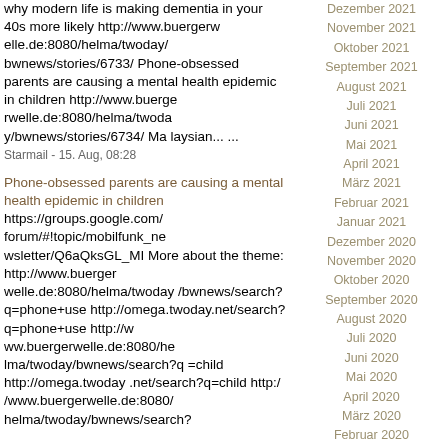why modern life is making dementia in your 40s more likely http://www.buergerwelle.de:8080/helma/twoday/bwnews/stories/6733/ Phone-obsessed parents are causing a mental health epidemic in children http://www.buergerwelle.de:8080/helma/twoday/bwnews/stories/6734/ Malaysian... ...
Starmail - 15. Aug, 08:28
Phone-obsessed parents are causing a mental health epidemic in children https://groups.google.com/forum/#!topic/mobilfunk_newsletter/Q6aQksGL_MI More about the theme: http://www.buergerwelle.de:8080/helma/twoday/bwnews/search?q=phone+use http://omega.twoday.net/search?q=phone+use http://www.buergerwelle.de:8080/helma/twoday/bwnews/search?q=child http://omega.twoday.net/search?q=child http://www.buergerwelle.de:8080/helma/twoday/bwnews/search?...
Dezember 2021
November 2021
Oktober 2021
September 2021
August 2021
Juli 2021
Juni 2021
Mai 2021
April 2021
März 2021
Februar 2021
Januar 2021
Dezember 2020
November 2020
Oktober 2020
September 2020
August 2020
Juli 2020
Juni 2020
Mai 2020
April 2020
März 2020
Februar 2020
Januar 2020
Dezember 2019
November 2019
Oktober 2019
September 2019
August 2019
Juli 2019
Juni 2019
Mai 2019
April 2019
März 2019
Februar 2019
Januar 2019
Dezember 2018
November 2018